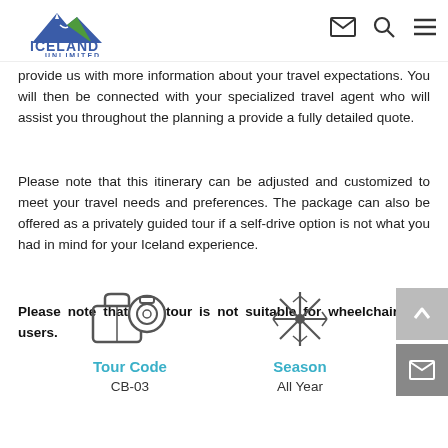Iceland Unlimited
provide us with more information about your travel expectations. You will then be connected with your specialized travel agent who will assist you throughout the planning a provide a fully detailed quote.
Please note that this itinerary can be adjusted and customized to meet your travel needs and preferences. The package can also be offered as a privately guided tour if a self-drive option is not what you had in mind for your Iceland experience.
Please note that this tour is not suitable for wheelchair users.
[Figure (illustration): Camera/luggage icon representing Tour Code]
Tour Code
CB-03
[Figure (illustration): Snowflake icon representing Season]
Season
All Year